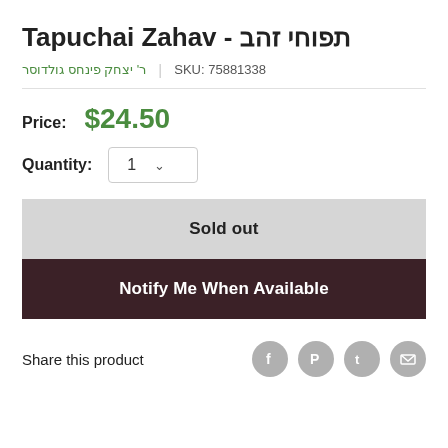Tapuchai Zahav - תפוחי זהב
ר' יצחק פינחס גולדוסר   |   SKU: 75881338
Price: $24.50
Quantity: 1
Sold out
Notify Me When Available
Share this product